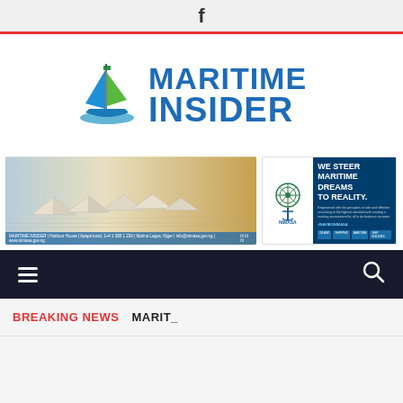f
[Figure (logo): Maritime Insider logo with sailboat icon and bold blue text reading MARITIME INSIDER]
[Figure (photo): Banner with paper boats on a map on the left, and NIMASA advertisement on the right reading WE STEER MARITIME DREAMS TO REALITY. #NAVIBONIMASA]
≡  🔍
BREAKING NEWS   MARIT_
FACT   NEWS